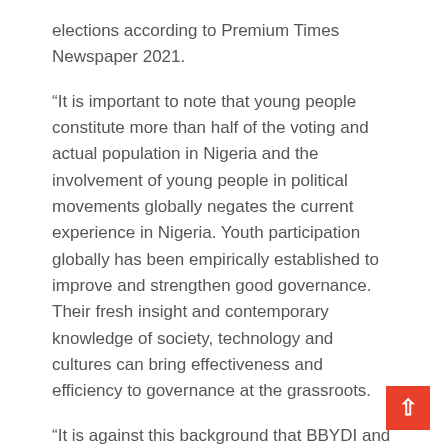elections according to Premium Times Newspaper 2021.
“It is important to note that young people constitute more than half of the voting and actual population in Nigeria and the involvement of young people in political movements globally negates the current experience in Nigeria. Youth participation globally has been empirically established to improve and strengthen good governance. Their fresh insight and contemporary knowledge of society, technology and cultures can bring effectiveness and efficiency to governance at the grassroots.
“It is against this background that BBYDI and Christian Aid have lined up a series of activities aimed at leveraging technology to increase citizens’ participation, especially women and youths in the